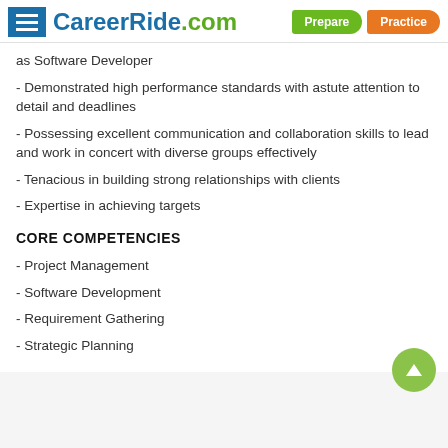CareerRide.com | Prepare | Practice
as Software Developer
- Demonstrated high performance standards with astute attention to detail and deadlines
- Possessing excellent communication and collaboration skills to lead and work in concert with diverse groups effectively
- Tenacious in building strong relationships with clients
- Expertise in achieving targets
CORE COMPETENCIES
- Project Management
- Software Development
- Requirement Gathering
- Strategic Planning